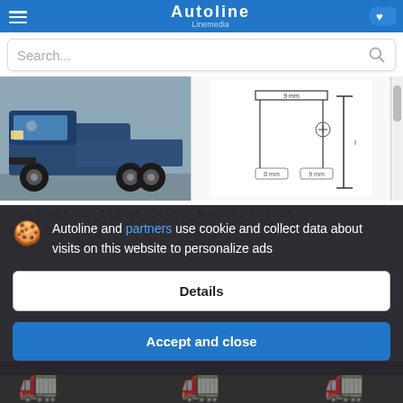Autoline Linemedia
Search...
[Figure (photo): Blue Volkswagen Crafter flatbed truck parked outdoors]
[Figure (schematic): Technical diagram with dimensions showing 9mm measurements]
VOLKSWAGEN Crafter TDI - 50 - Pritsche Nr.: 834
€10,900 Excluding VAT
Flatbed truck, Euro: Euro 4, 306 mi, 3.60 m²
Autoline and partners use cookie and collect data about visits on this website to personalize ads
Details
Accept and close